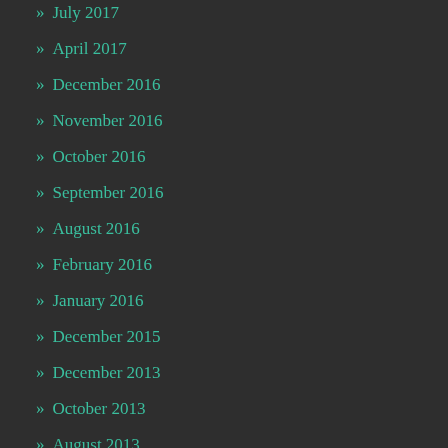» July 2017
» April 2017
» December 2016
» November 2016
» October 2016
» September 2016
» August 2016
» February 2016
» January 2016
» December 2015
» December 2013
» October 2013
» August 2013
» May 2013
» April …